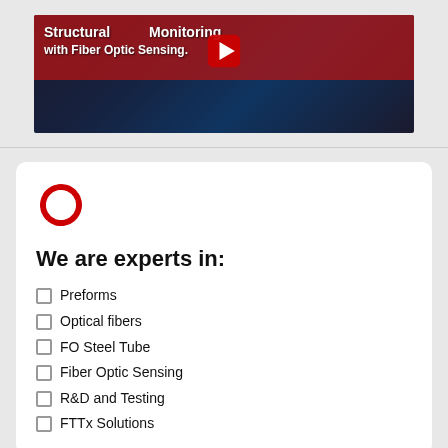[Figure (screenshot): Video thumbnail showing 'Structural Monitoring with Fiber Optic Sensing' with a red overlay and city skyline background, featuring a YouTube play button]
We are experts in:
Preforms
Optical fibers
FO Steel Tube
Fiber Optic Sensing
R&D and Testing
FTTx Solutions